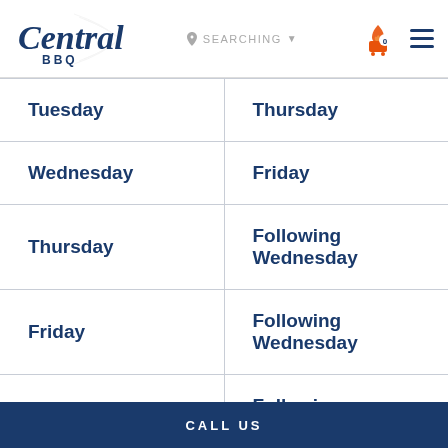[Figure (logo): Central BBQ logo with script text and BBQ subtitle in navy blue]
| Tuesday | Thursday |
| Wednesday | Friday |
| Thursday | Following Wednesday |
| Friday | Following Wednesday |
| Saturday | Following Wednesday |
CALL US